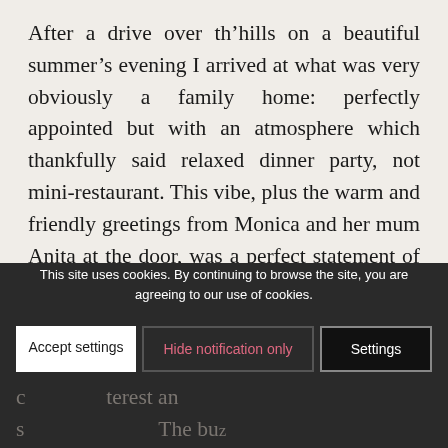After a drive over th’hills on a beautiful summer’s evening I arrived at what was very obviously a family home: perfectly appointed but with an atmosphere which thankfully said relaxed dinner party, not mini-restaurant. This vibe, plus the warm and friendly greetings from Monica and her mum Anita at the door, was a perfect statement of intentions. Escorted to my place, I joined a dozen or so other people at one of two large tables. Chatting around before food was served, the diners seemed to come from a wide range of backgrounds and levels of food interest. There’s alway a good frisson at a supper club: a range of dining c... terest an s... The bu...
This site uses cookies. By continuing to browse the site, you are agreeing to our use of cookies.
Accept settings | Hide notification only | Settings